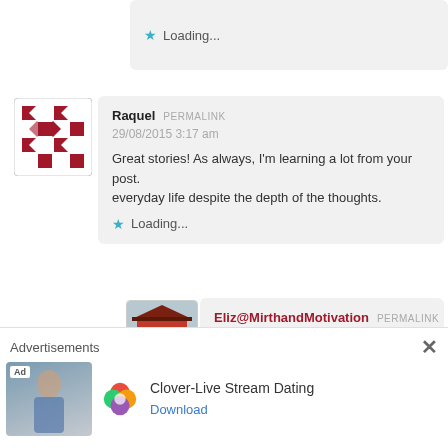Loading...
Raquel  PERMALINK
29/08/2015 3:17 am
Great stories! As always, I'm learning a lot from your post.
everyday life despite the depth of the thoughts.
Loading...
[Figure (illustration): Geometric avatar with red and white diamond/cross pattern for user Raquel]
Eliz@MirthandMotivation  PERMALINK
29/08/2015 5:28 pm
[Figure (photo): Red Japanese temple gate photo (avatar for Eliz@MirthandMotivation)]
Advertisements
[Figure (infographic): Clover-Live Stream Dating advertisement with ad badge, woman photo, Clover four-leaf logo, and Download link]